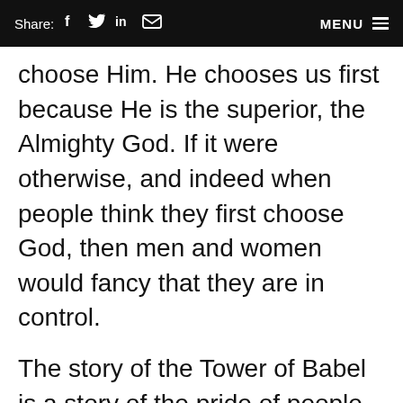Share: f  in  [mail]   MENU
choose Him. He chooses us first because He is the superior, the Almighty God. If it were otherwise, and indeed when people think they first choose God, then men and women would fancy that they are in control.
The story of the Tower of Babel is a story of the pride of people who thought they could build a tower to God. They were usurping God's role. They were the initiators. They were